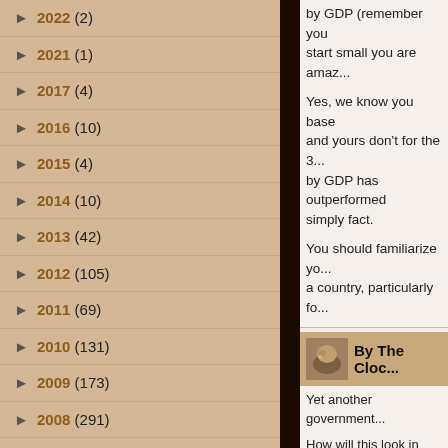► 2022 (2)
► 2021 (1)
► 2017 (4)
► 2016 (10)
► 2015 (4)
► 2014 (10)
► 2013 (42)
► 2012 (105)
► 2011 (69)
► 2010 (131)
► 2009 (173)
► 2008 (291)
► 2007 (296)
► 2006 (1032)
► 2005 (1076)
by GDP (remember you start small you are amaz...
Yes, we know you base and yours don't for the 3... by GDP has outperformed simply fact.
You should familiarize yo... a country, particularly fo...
By The Cloc...
Yet another government...
How will this look in light... corruption, and harmoni... seemingly peaceful pow...
Full story here: http://tinyurl.com/d6ju...